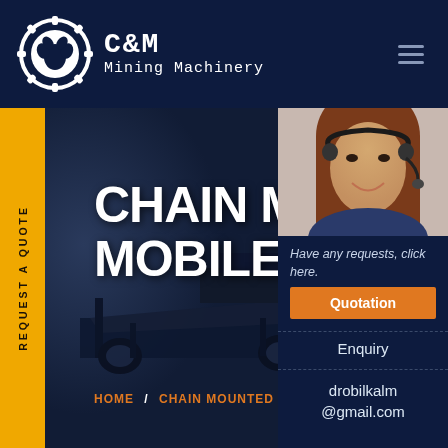[Figure (logo): C&M Mining Machinery logo with gear/claw icon in white on dark navy header]
[Figure (photo): Hero section showing industrial chain mounted mobile crusher machinery with dark overlay]
CHAIN MOUNTED MOBILE CRUSHER
HOME / CHAIN MOUNTED MOBILE
[Figure (photo): Customer service agent woman with headset smiling]
Have any requests, click here.
Quotation
Enquiry
drobilkalm@gmail.com
REQUEST A QUOTE